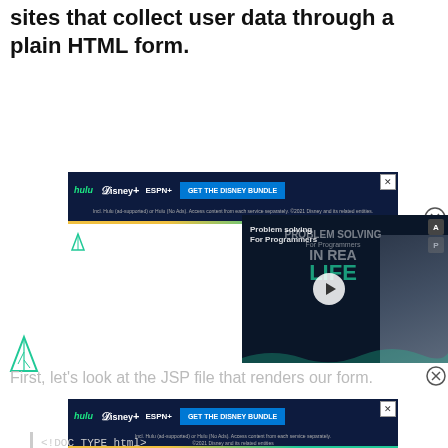sites that collect user data through a plain HTML form.
[Figure (screenshot): Disney Bundle advertisement banner with Hulu, Disney+, ESPN+ logos and GET THE DISNEY BUNDLE button]
[Figure (screenshot): Video overlay showing Problem Solving For Programmers IN REAL LIFE with play button and person photo]
[Figure (logo): Fern/triangle icon in green (small)]
[Figure (logo): Fern/triangle icon in green (large)]
First, let's look at the JSP file that renders our form.
[Figure (screenshot): Disney Bundle advertisement banner with Hulu, Disney+, ESPN+ logos and GET THE DISNEY BUNDLE button (second)]
<!DOC TYPE html>